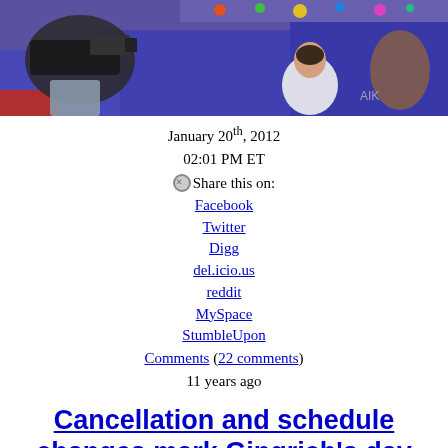[Figure (photo): News photo showing a cameraman filming children on a colorful mat/carpet, viewed from above. A girl in a white shirt is visible on a blue mat, and a camera operator with equipment is visible on the left.]
January 20th, 2012
02:01 PM ET
Share this on:
Facebook
Twitter
Digg
del.icio.us
reddit
MySpace
StumbleUpon
Comments (22 comments)
11 years ago
Cancellation and schedule changes mark Gingrich's day
[Figure (photo): Author headshot photo, partially visible at bottom of page.]